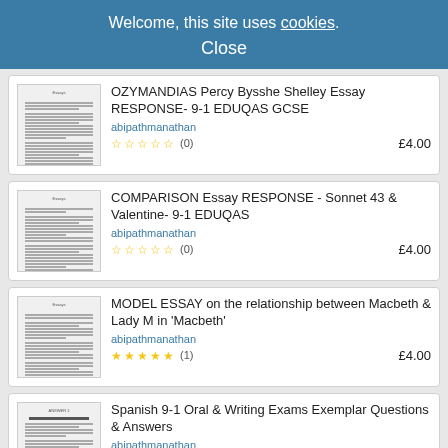Welcome, this site uses cookies. Close
OZYMANDIAS Percy Bysshe Shelley Essay RESPONSE- 9-1 EDUQAS GCSE | abipathmanathan | ☆☆☆☆☆ (0) | £4.00
COMPARISON Essay RESPONSE - Sonnet 43 & Valentine- 9-1 EDUQAS | abipathmanathan | ☆☆☆☆☆ (0) | £4.00
MODEL ESSAY on the relationship between Macbeth & Lady M in 'Macbeth' | abipathmanathan | ★★★★★ (1) | £4.00
Spanish 9-1 Oral & Writing Exams Exemplar Questions & Answers | abipathmanathan